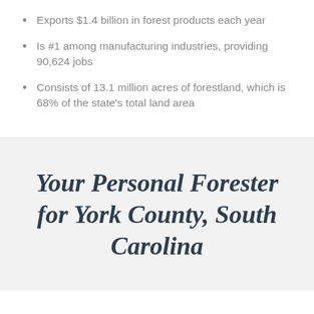Exports $1.4 billion in forest products each year
Is #1 among manufacturing industries, providing 90,624 jobs
Consists of 13.1 million acres of forestland, which is 68% of the state's total land area
Your Personal Forester for York County, South Carolina